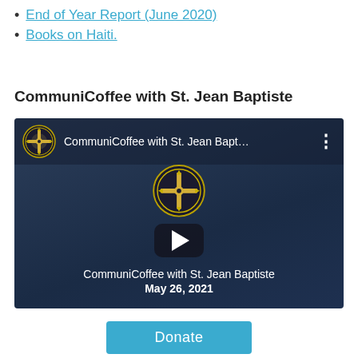End of Year Report (June 2020)
Books on Haiti.
CommuniCoffee with St. Jean Baptiste
[Figure (screenshot): YouTube video thumbnail for 'CommuniCoffee with St. Jean Bapt...' dated May 26, 2021, showing a play button overlay and a circular logo with a cross emblem.]
Donate